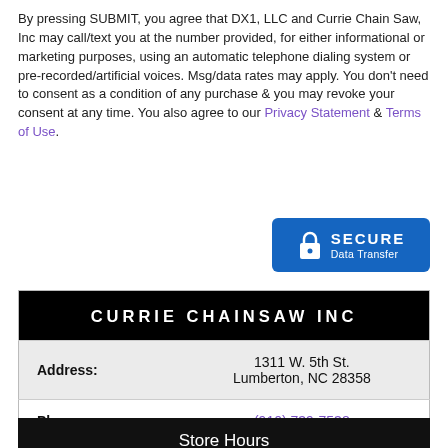By pressing SUBMIT, you agree that DX1, LLC and Currie Chain Saw, Inc may call/text you at the number provided, for either informational or marketing purposes, using an automatic telephone dialing system or pre-recorded/artificial voices. Msg/data rates may apply. You don't need to consent as a condition of any purchase & you may revoke your consent at any time. You also agree to our Privacy Statement & Terms of Use.
[Figure (infographic): Blue rounded rectangle badge with a padlock icon and text 'SECURE Data Transfer' in white on blue background]
|  |  |
| --- | --- |
| CURRIE CHAINSAW INC |  |
| Address: | 1311 W. 5th St.
Lumberton, NC 28358 |
| Phone: | (910) 739-7538 |
| Fax: | (910) 738-6501 |
Store Hours